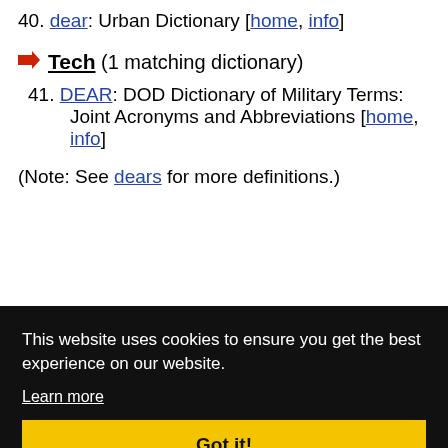40. dear: Urban Dictionary [home, info]
Tech (1 matching dictionary)
41. DEAR: DOD Dictionary of Military Terms: Joint Acronyms and Abbreviations [home, info]
(Note: See dears for more definitions.)
[Figure (screenshot): Cookie consent banner overlay with dark background. Text: 'This website uses cookies to ensure you get the best experience on our website.' with 'Learn more' link and 'Got it!' yellow button.]